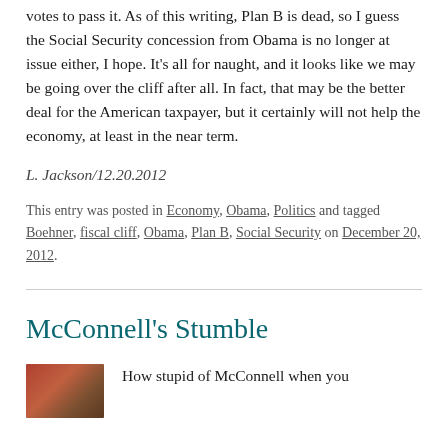votes to pass it. As of this writing, Plan B is dead, so I guess the Social Security concession from Obama is no longer at issue either, I hope. It's all for naught, and it looks like we may be going over the cliff after all. In fact, that may be the better deal for the American taxpayer, but it certainly will not help the economy, at least in the near term.
L. Jackson/12.20.2012
This entry was posted in Economy, Obama, Politics and tagged Boehner, fiscal cliff, Obama, Plan B, Social Security on December 20, 2012.
McConnell's Stumble
How stupid of McConnell when you